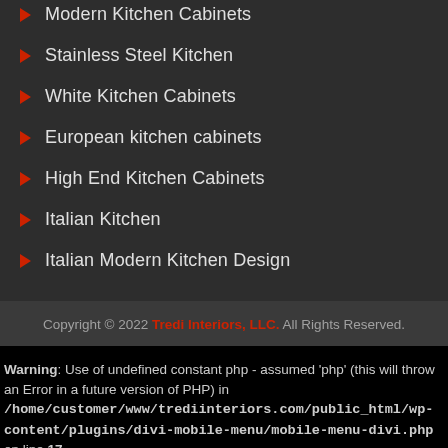Modern Kitchen Cabinets
Stainless Steel Kitchen
White Kitchen Cabinets
European kitchen cabinets
High End Kitchen Cabinets
Italian Kitchen
Italian Modern Kitchen Design
Copyright © 2022 Tredi Interiors, LLC. All Rights Reserved.
Warning: Use of undefined constant php - assumed 'php' (this will throw an Error in a future version of PHP) in /home/customer/www/trediinteriors.com/public_html/wp-content/plugins/divi-mobile-menu/mobile-menu-divi.php on line 17